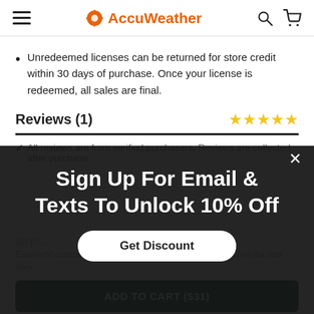AccuWeather
Unredeemed licenses can be returned for store credit within 30 days of purchase. Once your license is redeemed, all sales are final.
Reviews (1)
✓ All reviews are from verified purchasers. Reviews are collected after purchase.
Sign Up For Email & Texts To Unlock 10% Off
Get Discount